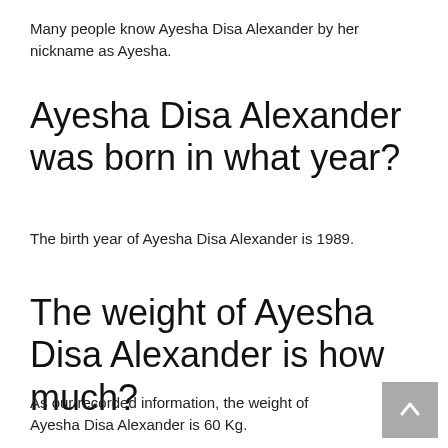Many people know Ayesha Disa Alexander by her nickname as Ayesha.
Ayesha Disa Alexander was born in what year?
The birth year of Ayesha Disa Alexander is 1989.
The weight of Ayesha Disa Alexander is how much?
As our recorded information, the weight of Ayesha Disa Alexander is 60 Kg.